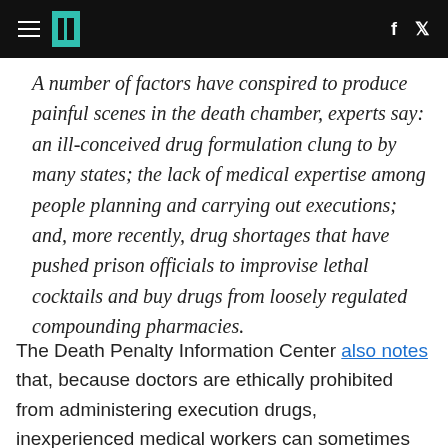[Navigation bar with hamburger menu, logo, and social icons for Facebook and Twitter]
A number of factors have conspired to produce painful scenes in the death chamber, experts say: an ill-conceived drug formulation clung to by many states; the lack of medical expertise among people planning and carrying out executions; and, more recently, drug shortages that have pushed prison officials to improvise lethal cocktails and buy drugs from loosely regulated compounding pharmacies.
The Death Penalty Information Center also notes that, because doctors are ethically prohibited from administering execution drugs, inexperienced medical workers can sometimes